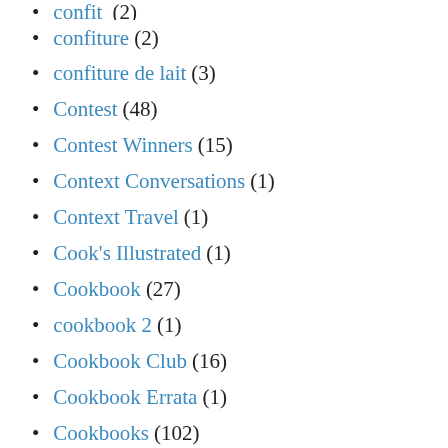confit (2)
confiture (2)
confiture de lait (3)
Contest (48)
Contest Winners (15)
Context Conversations (1)
Context Travel (1)
Cook's Illustrated (1)
Cookbook (27)
cookbook 2 (1)
Cookbook Club (16)
Cookbook Errata (1)
Cookbooks (102)
Cookie (97)
cookie butter (4)
cookie dough (3)
cookie mix (2)